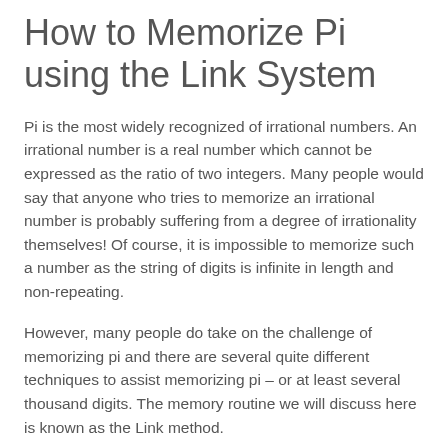How to Memorize Pi using the Link System
Pi is the most widely recognized of irrational numbers. An irrational number is a real number which cannot be expressed as the ratio of two integers. Many people would say that anyone who tries to memorize an irrational number is probably suffering from a degree of irrationality themselves! Of course, it is impossible to memorize such a number as the string of digits is infinite in length and non-repeating.
However, many people do take on the challenge of memorizing pi and there are several quite different techniques to assist memorizing pi – or at least several thousand digits. The memory routine we will discuss here is known as the Link method.
Method – Build a